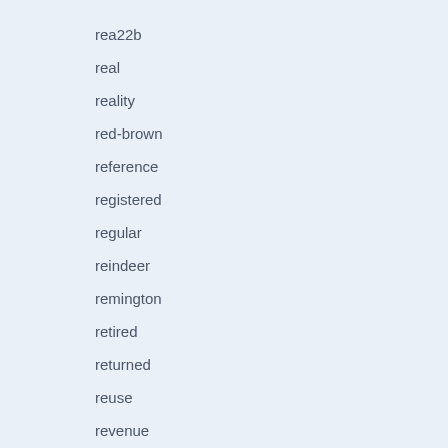rea22b
real
reality
red-brown
reference
registered
regular
reindeer
remington
retired
returned
reuse
revenue
revenues
rg55